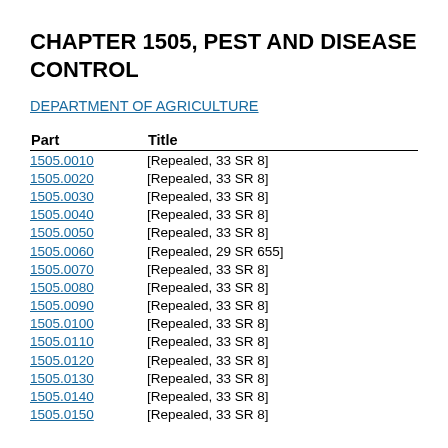CHAPTER 1505, PEST AND DISEASE CONTROL
DEPARTMENT OF AGRICULTURE
| Part | Title |
| --- | --- |
| 1505.0010 | [Repealed, 33 SR 8] |
| 1505.0020 | [Repealed, 33 SR 8] |
| 1505.0030 | [Repealed, 33 SR 8] |
| 1505.0040 | [Repealed, 33 SR 8] |
| 1505.0050 | [Repealed, 33 SR 8] |
| 1505.0060 | [Repealed, 29 SR 655] |
| 1505.0070 | [Repealed, 33 SR 8] |
| 1505.0080 | [Repealed, 33 SR 8] |
| 1505.0090 | [Repealed, 33 SR 8] |
| 1505.0100 | [Repealed, 33 SR 8] |
| 1505.0110 | [Repealed, 33 SR 8] |
| 1505.0120 | [Repealed, 33 SR 8] |
| 1505.0130 | [Repealed, 33 SR 8] |
| 1505.0140 | [Repealed, 33 SR 8] |
| 1505.0150 | [Repealed, 33 SR 8] |